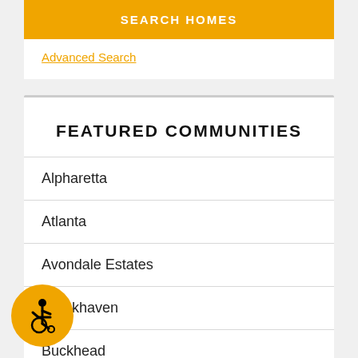SEARCH HOMES
Advanced Search
FEATURED COMMUNITIES
Alpharetta
Atlanta
Avondale Estates
Brookhaven
Buckhead
Chamblee
[Figure (illustration): Accessibility wheelchair icon badge in orange circle]